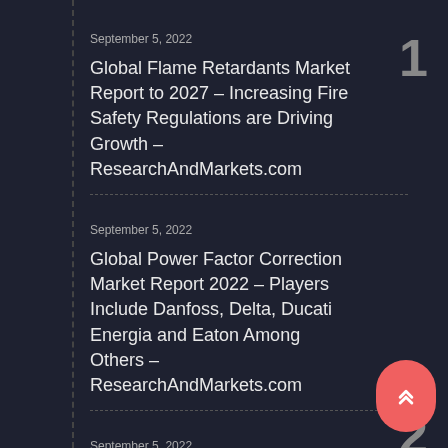September 5, 2022
Global Flame Retardants Market Report to 2027 – Increasing Fire Safety Regulations are Driving Growth – ResearchAndMarkets.com
September 5, 2022
Global Power Factor Correction Market Report 2022 – Players Include Danfoss, Delta, Ducati Energia and Eaton Among Others – ResearchAndMarkets.com
September 5, 2022
North America Battery Energy Storage System (BESS) Markets Report 2022-2027 Featuring